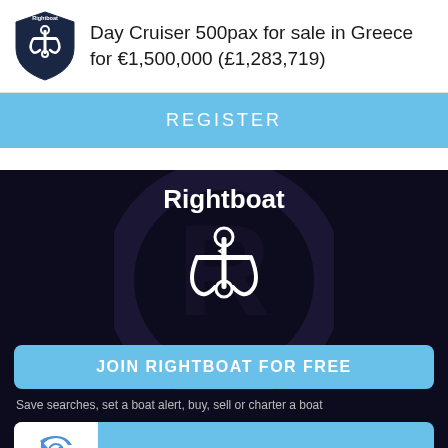[Figure (logo): Rightboat shield logo with anchor icon in dark navy blue]
Day Cruiser 500pax for sale in Greece for €1,500,000 (£1,283,719)
REGISTER
[Figure (logo): Rightboat anchor logo on dark background with large watermark]
Rightboat
JOIN RIGHTBOAT FOR FREE
Save searches, set a boat alert, buy, sell or charter a boat
REGISTER FOR OUR NEWSLETTER
Enter your email to keep up to date with the latest news